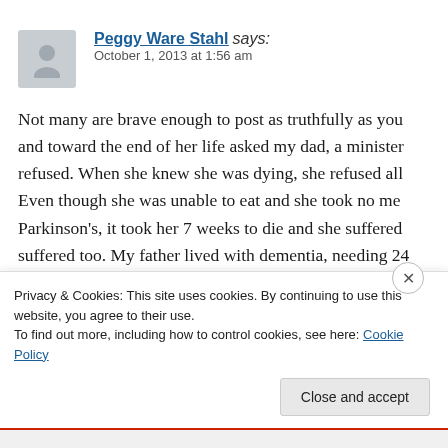Peggy Ware Stahl says:
October 1, 2013 at 1:56 am
Not many are brave enough to post as truthfully as you and toward the end of her life asked my dad, a minister refused. When she knew she was dying, she refused all. Even though she was unable to eat and she took no me Parkinson's, it took her 7 weeks to die and she suffered suffered too. My father lived with dementia, needing 24 himself, for 5 years before he died. I told him repeated
Privacy & Cookies: This site uses cookies. By continuing to use this website, you agree to their use.
To find out more, including how to control cookies, see here: Cookie Policy
Close and accept